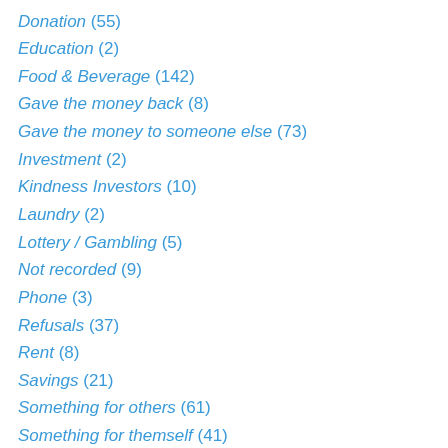Donation (55)
Education (2)
Food & Beverage (142)
Gave the money back (8)
Gave the money to someone else (73)
Investment (2)
Kindness Investors (10)
Laundry (2)
Lottery / Gambling (5)
Not recorded (9)
Phone (3)
Refusals (37)
Rent (8)
Savings (21)
Something for others (61)
Something for themself (41)
Transportation (36)
Unknown (20)
Update (12)
Volunteering (59)